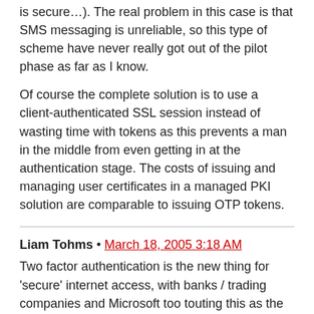is secure…). The real problem in this case is that SMS messaging is unreliable, so this type of scheme have never really got out of the pilot phase as far as I know.
Of course the complete solution is to use a client-authenticated SSL session instead of wasting time with tokens as this prevents a man in the middle from even getting in at the authentication stage. The costs of issuing and managing user certificates in a managed PKI solution are comparable to issuing OTP tokens.
Liam Tohms • March 18, 2005 3:18 AM
Two factor authentication is the new thing for ‘secure’ internet access, with banks / trading companies and Microsoft too touting this as the way forwards.
Except it isn't workable.
Because people will be issued with a plethora of fobs to carry around which will become extremely inconvenient. I currently have 3 SecurID tokens and they are bulky to carry in a pocket. Users will NOT want to have to carry a fob for